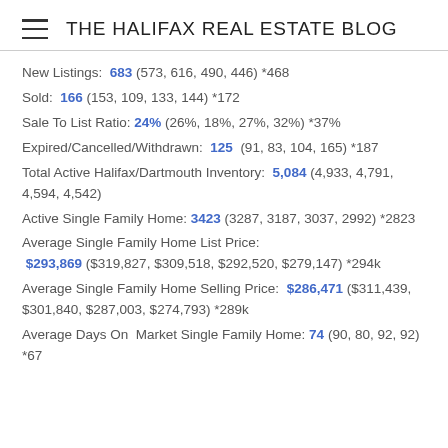THE HALIFAX REAL ESTATE BLOG
New Listings: 683 (573, 616, 490, 446) *468
Sold: 166 (153, 109, 133, 144) *172
Sale To List Ratio: 24% (26%, 18%, 27%, 32%) *37%
Expired/Cancelled/Withdrawn: 125 (91, 83, 104, 165) *187
Total Active Halifax/Dartmouth Inventory: 5,084 (4,933, 4,791, 4,594, 4,542)
Active Single Family Home: 3423 (3287, 3187, 3037, 2992) *2823
Average Single Family Home List Price: $293,869 ($319,827, $309,518, $292,520, $279,147) *294k
Average Single Family Home Selling Price: $286,471 ($311,439, $301,840, $287,003, $274,793) *289k
Average Days On Market Single Family Home: 74 (90, 80, 92, 92) *67